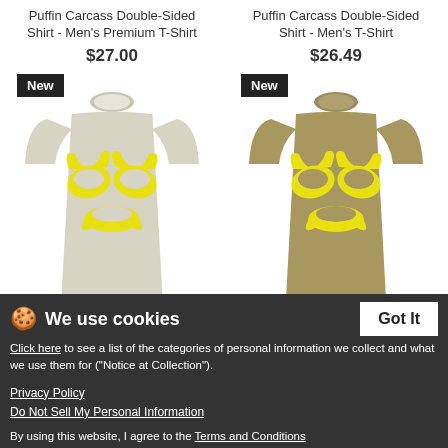Puffin Carcass Double-Sided Shirt - Men's Premium T-Shirt
$27.00
Puffin Carcass Double-Sided Shirt - Men's T-Shirt
$26.49
[Figure (photo): Light gray heather men's premium t-shirt with yellow puffin carcass graphic on front, 'New' badge overlay]
[Figure (photo): Khaki/tan men's t-shirt with yellow puffin carcass graphic on front, 'New' badge overlay]
We use cookies
Click here to see a list of the categories of personal information we collect and what we use them for ("Notice at Collection").
Privacy Policy
Do Not Sell My Personal Information
By using this website, I agree to the Terms and Conditions
...ble-Sided T-Shirt - Men's Premium T-Shirt
Tre Hjälmar Double-S... Shirt - Men's T-Shirt
$26.49